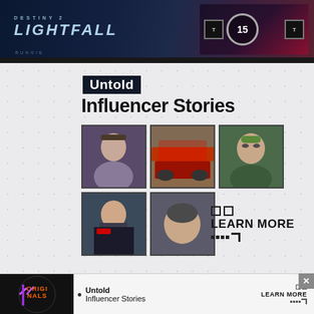[Figure (screenshot): Destiny 2 Lightfall game banner with logo and age rating badges on dark blue/purple background]
Untold
Influencer Stories
[Figure (photo): Grid of 5 influencer photos: man portrait, red sports car, man with sunglasses outdoors, man in black jacket, man close-up portrait]
LEARN MORE
[Figure (screenshot): Bottom advertisement banner showing Originals logo, Untold Influencer Stories text, and LEARN MORE button]